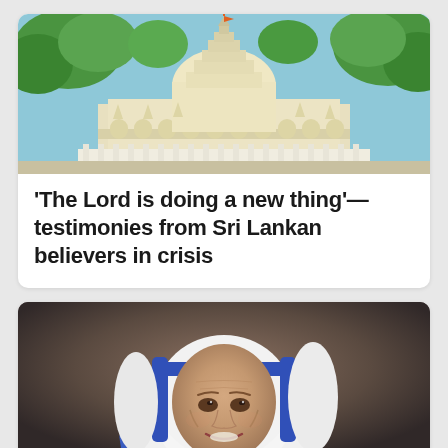[Figure (photo): Photograph of a Sri Lankan Buddhist/Hindu temple with ornate white architecture, golden dome/stupa, decorative spires, and green trees in the background under a blue sky]
'The Lord is doing a new thing'—testimonies from Sri Lankan believers in crisis
[Figure (photo): Portrait photograph of an elderly nun in a white habit with blue stripes, smiling warmly, resembling Mother Teresa]